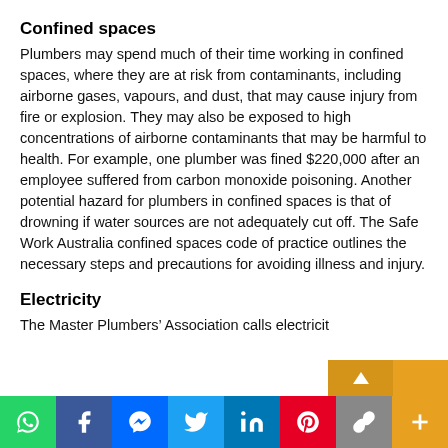Confined spaces
Plumbers may spend much of their time working in confined spaces, where they are at risk from contaminants, including airborne gases, vapours, and dust, that may cause injury from fire or explosion. They may also be exposed to high concentrations of airborne contaminants that may be harmful to health. For example, one plumber was fined $220,000 after an employee suffered from carbon monoxide poisoning. Another potential hazard for plumbers in confined spaces is that of drowning if water sources are not adequately cut off. The Safe Work Australia confined spaces code of practice outlines the necessary steps and precautions for avoiding illness and injury.
Electricity
The Master Plumbers’ Association calls electricit…